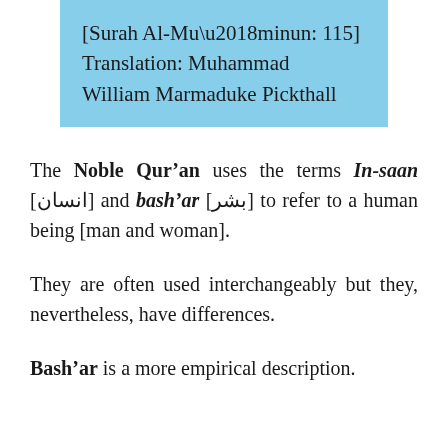[Surah Al-Mu’minun: 115]
Translation: Muhammad William Marmaduke Pickthall
The Noble Qur’an uses the terms In-saan [انسان] and bash’ar [بشر] to refer to a human being [man and woman].
They are often used interchangeably but they, nevertheless, have differences.
Bash’ar is a more empirical description.